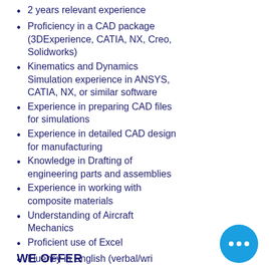2 years relevant experience
Proficiency in a CAD package (3DExperience, CATIA, NX, Creo, Solidworks)
Kinematics and Dynamics Simulation experience in ANSYS, CATIA, NX, or similar software
Experience in preparing CAD files for simulations
Experience in detailed CAD design for manufacturing
Knowledge in Drafting of engineering parts and assemblies
Experience in working with composite materials
Understanding of Aircraft Mechanics
Proficient use of Excel
Fluency in English (verbal/wr…)
WE OFFER